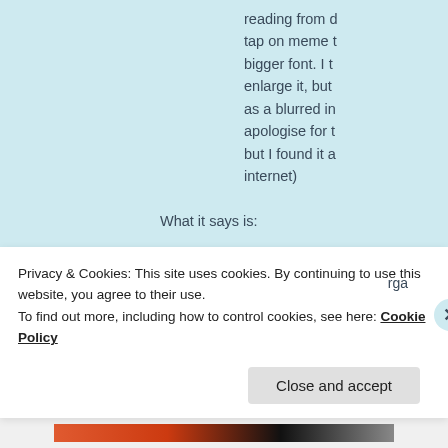reading from d tap on meme t bigger font. I t enlarge it, but as a blurred in apologise for t but I found it a internet)
What it says is:
“What is the purpose of numbers on stickers on Sur
If there are 4 digits and the first or second numbers
with insecticides
Privacy & Cookies: This site uses cookies. By continuing to use this website, you agree to their use.
To find out more, including how to control cookies, see here: Cookie Policy
Close and accept